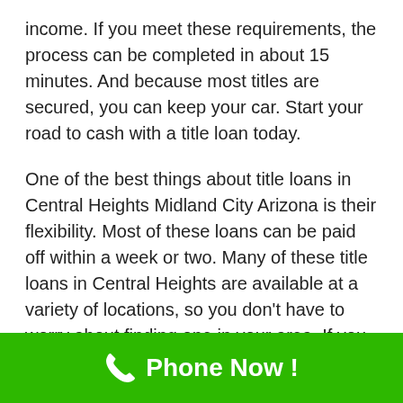income. If you meet these requirements, the process can be completed in about 15 minutes. And because most titles are secured, you can keep your car. Start your road to cash with a title loan today.
One of the best things about title loans in Central Heights Midland City Arizona is their flexibility. Most of these loans can be paid off within a week or two. Many of these title loans in Central Heights are available at a variety of locations, so you don't have to worry about finding one in your area. If you need money right away, a title loan in Central Height can be the perfect option for you. If you need cash
[Figure (infographic): Green banner with phone icon and text 'Phone Now !']